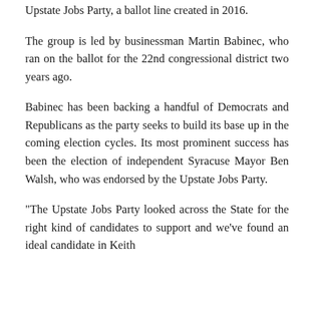Upstate Jobs Party, a ballot line created in 2016.
The group is led by businessman Martin Babinec, who ran on the ballot for the 22nd congressional district two years ago.
Babinec has been backing a handful of Democrats and Republicans as the party seeks to build its base up in the coming election cycles. Its most prominent success has been the election of independent Syracuse Mayor Ben Walsh, who was endorsed by the Upstate Jobs Party.
"The Upstate Jobs Party looked across the State for the right kind of candidates to support and we've found an ideal candidate in Keith